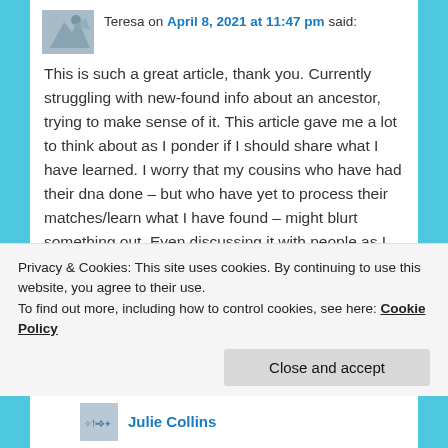[Figure (illustration): User avatar silhouette image in grey/blue tones]
Teresa on April 8, 2021 at 11:47 pm said:
This is such a great article, thank you. Currently struggling with new-found info about an ancestor, trying to make sense of it. This article gave me a lot to think about as I ponder if I should share what I have learned. I worry that my cousins who have had their dna done – but who have yet to process their matches/learn what I have found – might blurt something out. Even discussing it with people as I research makes me nervous that they will say something & subsequently hurt someone I love. And yet, I wonder if not sharing isn't making a choice for/taking away an opportunity for the folks
Privacy & Cookies: This site uses cookies. By continuing to use this website, you agree to their use.
To find out more, including how to control cookies, see here: Cookie Policy
Close and accept
Julie Collins